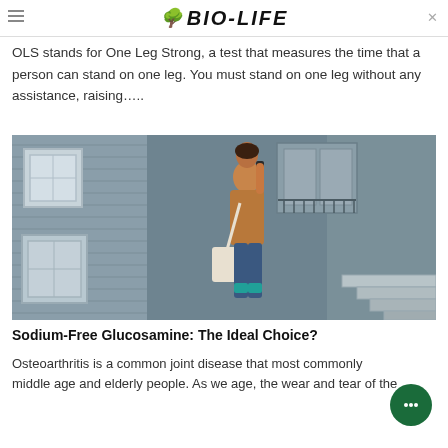BIO-LIFE
OLS stands for One Leg Strong, a test that measures the time that a person can stand on one leg. You must stand on one leg without any assistance, raising…..
[Figure (photo): Woman walking on a city street, carrying a tote bag and talking on phone, wearing a brown jacket and jeans, with buildings and stairs in the background]
Sodium-Free Glucosamine: The Ideal Choice?
Osteoarthritis is a common joint disease that most commonly middle age and elderly people. As we age, the wear and tear of the